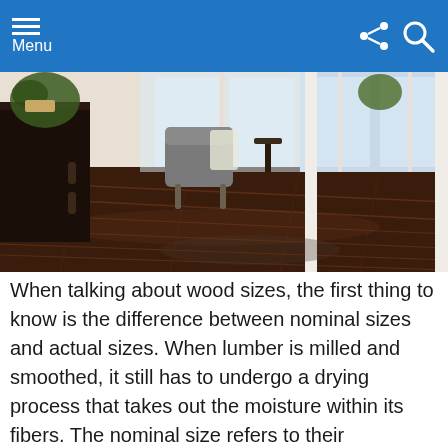Menu
[Figure (photo): Interior room with dark hardwood floors, white French doors, a gray armchair, and indoor plants]
When talking about wood sizes, the first thing to know is the difference between nominal sizes and actual sizes. When lumber is milled and smoothed, it still has to undergo a drying process that takes out the moisture within its fibers. The nominal size refers to their dimensions before the drying process is done. The actual size will have dimensions that have a